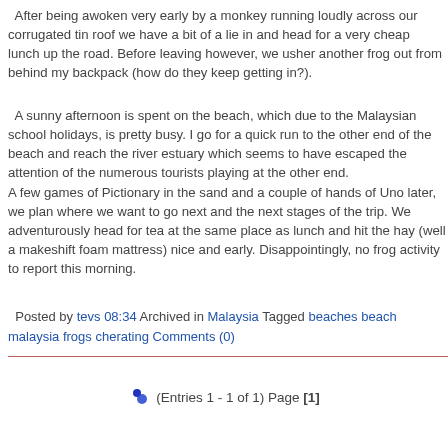After being awoken very early by a monkey running loudly across our corrugated tin roof we have a bit of a lie in and head for a very cheap lunch up the road. Before leaving however, we usher another frog out from behind my backpack (how do they keep getting in?).
A sunny afternoon is spent on the beach, which due to the Malaysian school holidays, is pretty busy. I go for a quick run to the other end of the beach and reach the river estuary which seems to have escaped the attention of the numerous tourists playing at the other end. A few games of Pictionary in the sand and a couple of hands of Uno later, we plan where we want to go next and the next stages of the trip. We adventurously head for tea at the same place as lunch and hit the hay (well a makeshift foam mattress) nice and early. Disappointingly, no frog activity to report this morning.
Posted by tevs 08:34 Archived in Malaysia Tagged beaches beach malaysia frogs cherating Comments (0)
(Entries 1 - 1 of 1) Page [1]